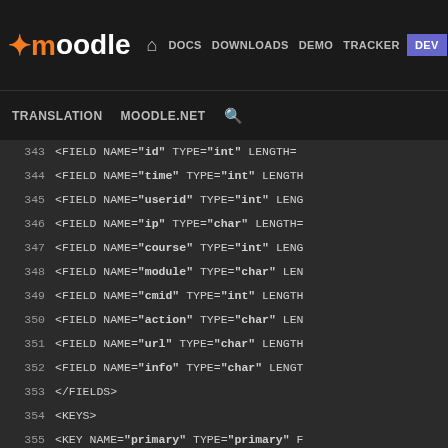Moodle navigation bar: DOCS DOWNLOADS DEMO TRACKER DEV | TRANSLATION MOODLE.NET (search)
[Figure (screenshot): Moodle developer documentation website header with black navigation bar showing logo, nav links (DOCS, DOWNLOADS, DEMO, TRACKER, DEV highlighted in blue), and secondary nav (TRANSLATION, MOODLE.NET, search icon)]
343  <FIELD NAME="id" TYPE="int" LENGTH=
344       <FIELD NAME="time" TYPE="int" LENGTH
345       <FIELD NAME="userid" TYPE="int" LENG
346       <FIELD NAME="ip" TYPE="char" LENGTH=
347       <FIELD NAME="course" TYPE="int" LENG
348       <FIELD NAME="module" TYPE="char" LEN
349       <FIELD NAME="cmid" TYPE="int" LENGTH
350       <FIELD NAME="action" TYPE="char" LEN
351       <FIELD NAME="url" TYPE="char" LENGTH
352       <FIELD NAME="info" TYPE="char" LENGT
353      </FIELDS>
354      <KEYS>
355          <KEY NAME="primary" TYPE="primary" F
356      </KEYS>
357      <INDEXES>
358          <INDEX NAME="time-course-module-acti
359          <INDEX NAME="course-module-action" U
360          <INDEX NAME="course-userid" UNIQUE=
361          <INDEX NAME="userid" UNIQUE="false"
362          <INDEX NAME="info" UNIQUE="false" FI
363      </INDEXES>
364  </TABLE>
365  <TABLE NAME="log_display" COMMENT="For a
366      <FIELDS>
367          <FIELD NAME="id" TYPE="int" LENGTH=
368          <FIELD NAME="module" TYPE="char" LEN
369          <FIELD NAME="action" TYPE="char" ...